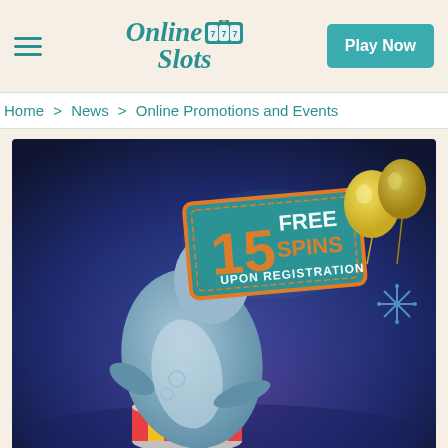Online Slots — Play Now
Home > News > Online Promotions and Events
[Figure (illustration): Promotional casino image showing a cartoon seal balancing on a circus pedestal. A sign reads '15 FREE SPINS UPON REGISTRATION' in orange and white text on a teal background. Colorful balloons are visible in the upper right. The background is a dark blue gradient with purple highlights.]